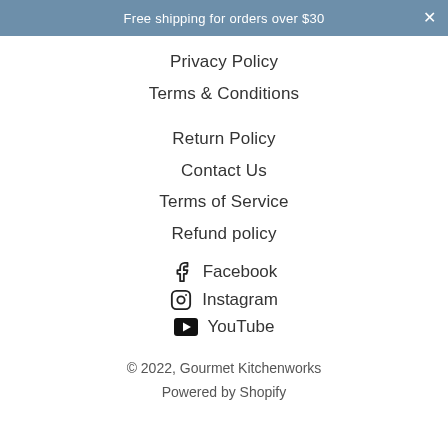Free shipping for orders over $30
Privacy Policy
Terms & Conditions
Return Policy
Contact Us
Terms of Service
Refund policy
Facebook
Instagram
YouTube
© 2022, Gourmet Kitchenworks
Powered by Shopify